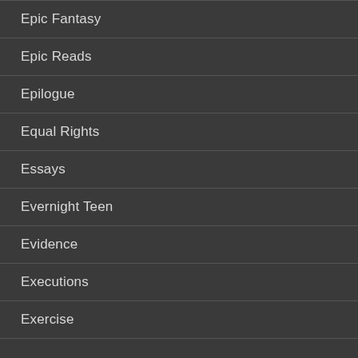Epic Fantasy
Epic Reads
Epilogue
Equal Rights
Essays
Evernight Teen
Evidence
Executions
Exercise